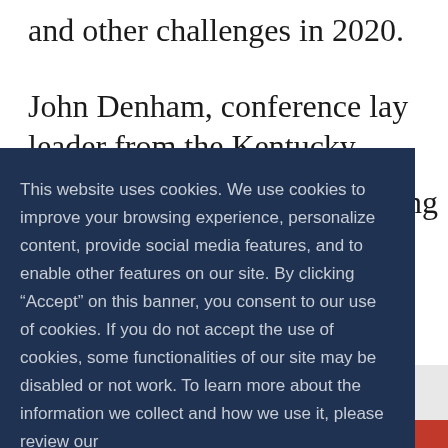and other challenges in 2020.
John Denham, conference lay leader from the Kentucky
ing
This website uses cookies. We use cookies to improve your browsing experience, personalize content, provide social media features, and to enable other features on our site. By clicking “Accept” on this banner, you consent to our use of cookies. If you do not accept the use of cookies, some functionalities of our site may be disabled or not work. To learn more about the information we collect and how we use it, please review our Privacy Policy
Decline
Accept